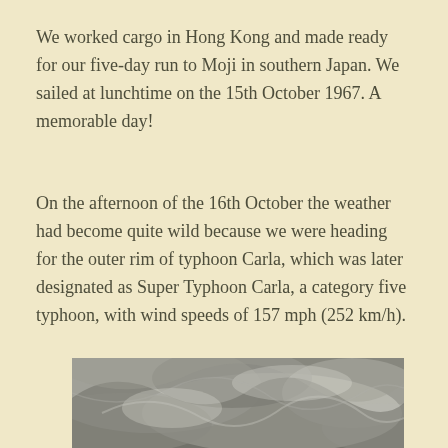We worked cargo in Hong Kong and made ready for our five-day run to Moji in southern Japan. We sailed at lunchtime on the 15th October 1967. A memorable day!
On the afternoon of the 16th October the weather had become quite wild because we were heading for the outer rim of typhoon Carla, which was later designated as Super Typhoon Carla, a category five typhoon, with wind speeds of 157 mph (252 km/h).
[Figure (photo): Black and white aerial/satellite photograph showing swirling cloud formations of a typhoon.]